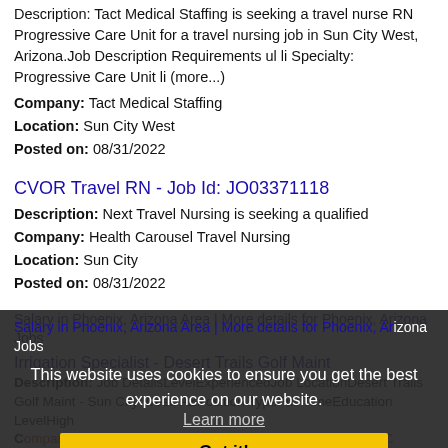Description: Tact Medical Staffing is seeking a travel nurse RN Progressive Care Unit for a travel nursing job in Sun City West, Arizona. Job Description Requirements ul li Specialty: Progressive Care Unit li (more...)
Company: Tact Medical Staffing
Location: Sun City West
Posted on: 08/31/2022
CVOR Travel RN - Job Id: JO03371118
Description: Next Travel Nursing is seeking a qualified
Company: Health Carousel Travel Nursing
Location: Sun City
Posted on: 08/31/2022
Salary in Phoenix, Arizona Area | More details for Phoenix, Arizona Jobs
This website uses cookies to ensure you get the best experience on our website.
Learn more
Got it!
Irrigation Specialist - Desert Trails Golf Maint
Description: Job DetailsLevelExperiencedJob LocationDesert Trails Golf Maint - Sun City West, AZPosition TypeFull TimeEducation LevelHigh
Company: RECREATION CENTERS OF SUN CITY WEST INC
Location: Sun City West
Posted on: 08/31/2022